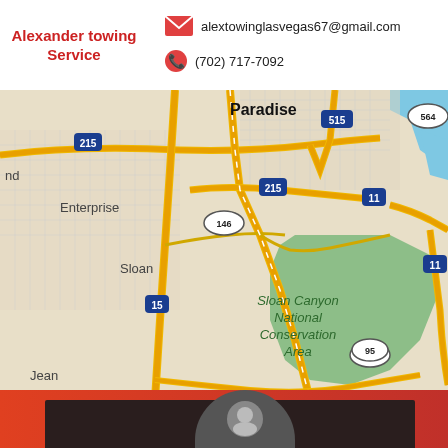Alexander towing Service
alextowinglasvegas67@gmail.com
(702) 717-7092
[Figure (map): Google Maps view showing the Las Vegas/Henderson area including Paradise, Henderson, Enterprise, Sloan, Boulder City, Jean, and Sloan Canyon National Conservation Area. Roads include I-215, I-515, I-11, I-15, US-95, US-564, US-165, and US-146.]